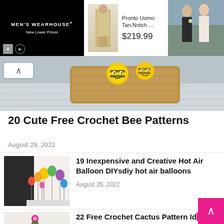[Figure (screenshot): Men's Wearhouse advertisement banner with suit image, 'Pronto Uomo Tan Notch...' and price $219.99, and a wedding couple photo on the right]
[Figure (photo): Hero image showing crocheted bee stuffed animals in a woven basket on a wooden surface]
20 Cute Free Crochet Bee Patterns
August 29, 2022
[Figure (photo): Photo of colorful hot air balloon paper/craft decorations on sticks against a light background]
19 Inexpensive and Creative Hot Air Balloon DIYsdiy hot air balloons
August 26, 2022
[Figure (photo): Photo of crochet cactus figures in pots — small green round cactus and taller cactus with pink flowers]
22 Free Crochet Cactus Pattern Ide to Try Right Now
August 26, 2022